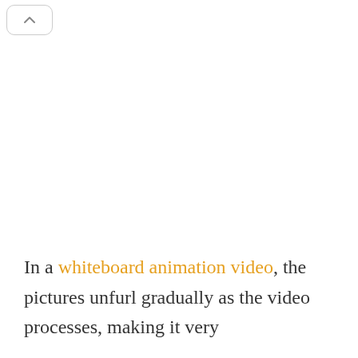[Figure (other): Navigation button with upward chevron/arrow icon, rounded rectangle shape with grey border]
In a whiteboard animation video, the pictures unfurl gradually as the video processes, making it very